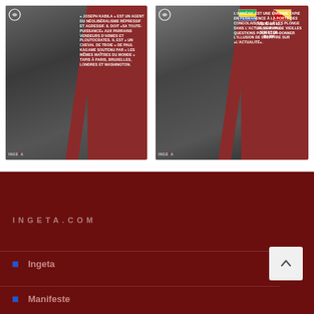[Figure (photo): Left card: Photo of Joseph Kabila with military figures, dark red background, white text overlay: '« JOSEPH KABILA » EST UN AGENT DU NÉOLIBÉRALISME RÉPRESSIF ET AGRESSIF. IL DOIT «SA TOUTE-PUISSANCE» AUX PARRAINS VENDEURS D'ARMES ET PLOUTOCRATES. IL EST « UN CHEVAL DE TROIE » DE PAUL KAGAME SOUTENU PAR « LES MÊMES MAÎTRES DU MONDE » TAPIS À PARIS, BRUXELLES, LONDRES ET WASHINGTON.']
[Figure (photo): Right card: Photo of Paul Kagame at podium with Rwandan and Congolese flags, dark red background, white text overlay: 'L'AMNÉSIE EST UNE ENNEMIE TAPIE EN PERMANENCE À LA PORTE DES CONGOLAIS(ES). ELLE LES PLONGE DANS L'ACTUALISATION DE VIEILLES QUESTIONS POUR LEUR DONNER L'ILLUSION DE DÉBATTRE SUR «L'ACTUALITÉ».' Header text: 'VISITE OFFIC... DE S.E.M. PAU... SIDENT DE... DU RW...']
INGETA.COM
Ingeta
Manifeste